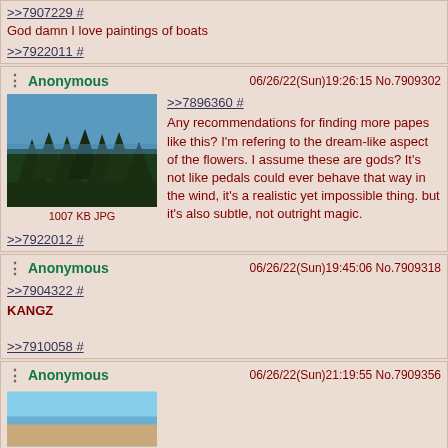>>7907229 #
God damn I love paintings of boats
>>7922011 #
Anonymous 06/26/22(Sun)19:26:15 No.7909302
[Figure (photo): Forest treeline silhouette against blue sky, 1007 KB JPG]
>>7896360 #
Any recommendations for finding more papes like this? I'm refering to the dream-like aspect of the flowers. I assume these are gods? It's not like pedals could ever behave that way in the wind, it's a realistic yet impossible thing. but it's also subtle, not outright magic.
>>7922012 #
Anonymous 06/26/22(Sun)19:45:06 No.7909318
>>7904322 #
KANGZ
>>7910058 #
Anonymous 06/26/22(Sun)21:19:55 No.7909356
[Figure (photo): Beach/ocean horizon image, partial view]